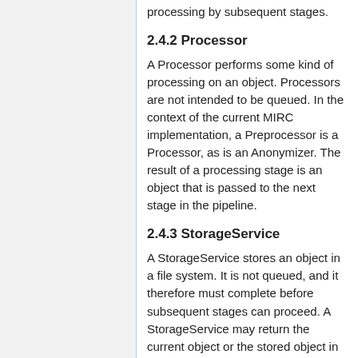processing by subsequent stages.
2.4.2 Processor
A Processor performs some kind of processing on an object. Processors are not intended to be queued. In the context of the current MIRC implementation, a Preprocessor is a Processor, as is an Anonymizer. The result of a processing stage is an object that is passed to the next stage in the pipeline.
2.4.3 StorageService
A StorageService stores an object in a file system. It is not queued, and it therefore must complete before subsequent stages can proceed. A StorageService may return the current object or the stored object in response to a request for the output object, depending on its implementation.